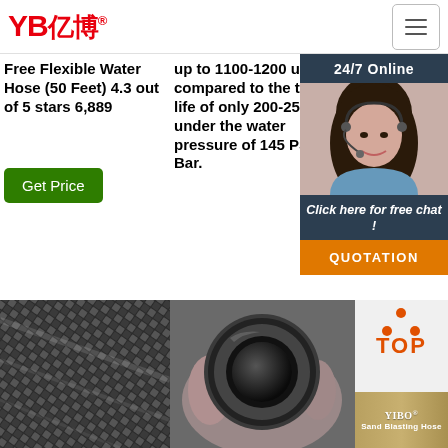[Figure (logo): YB亿博 logo in red with registered trademark symbol]
Free Flexible Water Hose (50 Feet) 4.3 out of 5 stars 6,889
up to 1100-1200 uses- compared to the typical life of only 200-250 uses under the water pressure of 145 PSI/10 Bar.
Fabric Protection for A... Wa... Im... De... Ga... Am... DE... on e... pu...
Get Price
Get Price
[Figure (photo): 24/7 Online chat overlay with woman wearing headset, Click here for free chat! button, and QUOTATION button]
[Figure (photo): Close-up of black braided hose surface showing woven texture pattern]
[Figure (photo): End-on view of black rubber hose showing circular cross-section]
[Figure (logo): TOP icon with orange dots and text, YIBO Sand Blasting Hose product banner]
Get Price